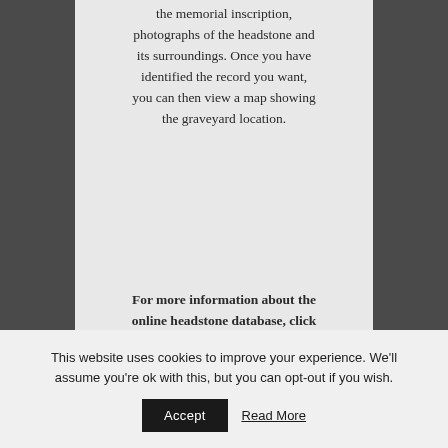the memorial inscription, photographs of the headstone and its surroundings. Once you have identified the record you want, you can then view a map showing the graveyard location.
For more information about the online headstone database, click here for TheGenealogist.co.uk
This website uses cookies to improve your experience. We'll assume you're ok with this, but you can opt-out if you wish.
Accept
Read More